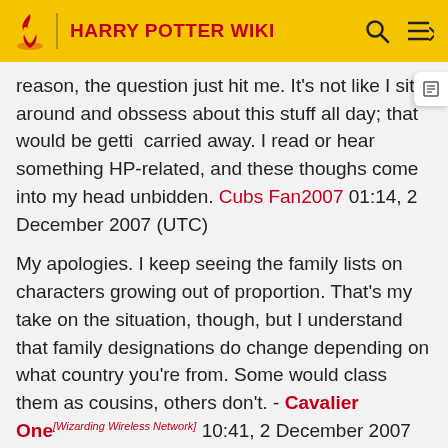HARRY POTTER WIKI
reason, the question just hit me. It's not like I sit around and obssess about this stuff all day; that would be getting carried away. I read or hear something HP-related, and these thoughs come into my head unbidden. Cubs Fan2007 01:14, 2 December 2007 (UTC)
My apologies. I keep seeing the family lists on characters growing out of proportion. That's my take on the situation, though, but I understand that family designations do change depending on what country you're from. Some would class them as cousins, others don't. - Cavalier One[Wizarding Wireless Network] 10:41, 2 December 2007 (UTC)
Patronus
Can we have a reference for JKR confirming Ginny's